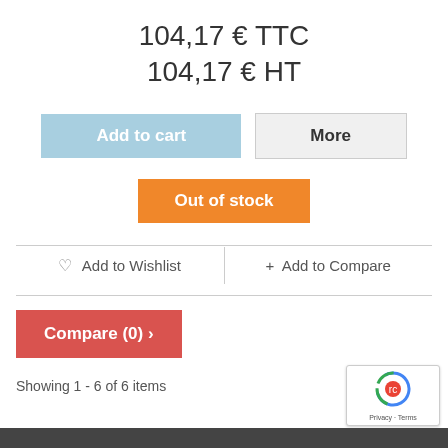104,17 € TTC
104,17 € HT
Add to cart
More
Out of stock
Add to Wishlist
+ Add to Compare
Compare (0) >
Showing 1 - 6 of 6 items